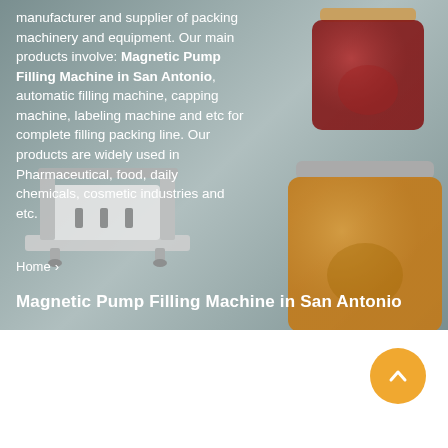[Figure (photo): Background image of a filling machine on the left and two glass jars (one red/dark and one yellow/honey) on the right, with a grey-toned industrial background.]
manufacturer and supplier of packing machinery and equipment. Our main products involve: Magnetic Pump Filling Machine in San Antonio, automatic filling machine, capping machine, labeling machine and etc for complete filling packing line. Our products are widely used in Pharmaceutical, food, daily chemicals, cosmetic industries and etc.
Home › Magnetic Pump Filling Machine in San Antonio
Magnetic Pump Filling Machine in San Antonio